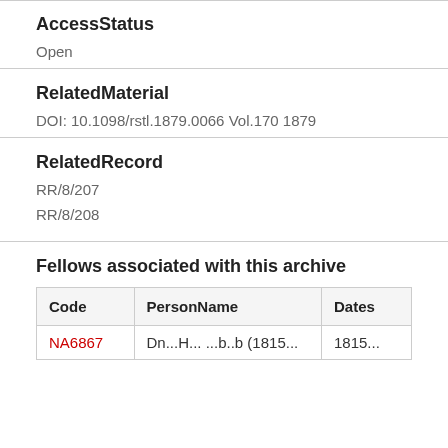AccessStatus
Open
RelatedMaterial
DOI: 10.1098/rstl.1879.0066 Vol.170 1879
RelatedRecord
RR/8/207
RR/8/208
Fellows associated with this archive
| Code | PersonName | Dates |
| --- | --- | --- |
| NA6867 | Dn...H... ...b..b (1815... | 1815... |